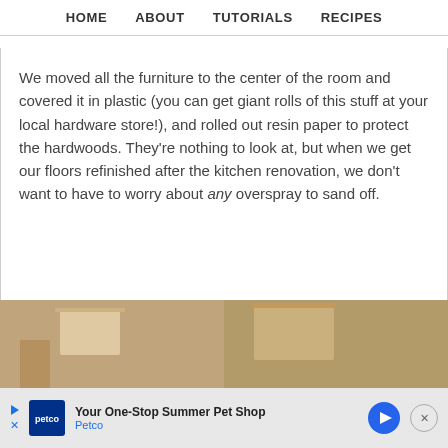HOME   ABOUT   TUTORIALS   RECIPES
We moved all the furniture to the center of the room and covered it in plastic (you can get giant rolls of this stuff at your local hardware store!), and rolled out resin paper to protect the hardwoods. They're nothing to look at, but when we get our floors refinished after the kitchen renovation, we don't want to have to worry about any overspray to sand off.
[Figure (photo): Two side-by-side photos showing a room interior being prepped for painting — furniture moved and floors covered]
[Figure (screenshot): Petco advertisement banner: 'Your One-Stop Summer Pet Shop — Petco']